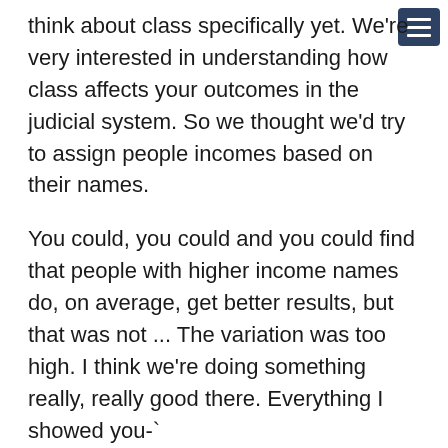think about class specifically yet. We're very interested in understanding how class affects your outcomes in the judicial system. So we thought we'd try to assign people incomes based on their names.
You could, you could and you could find that people with higher income names do, on average, get better results, but that was not ... The variation was too high. I think we're doing something really, really good there. Everything I showed you-`
Tariq Thachil:
Sorry to interrupt.
Paul Novosad: